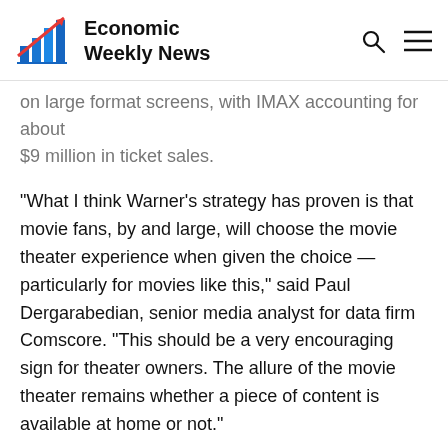Economic Weekly News
on large format screens, with IMAX accounting for about $9 million in ticket sales.
“What I think Warner’s strategy has proven is that movie fans, by and large, will choose the movie theater experience when given the choice — particularly for movies like this,” said Paul Dergarabedian, senior media analyst for data firm Comscore. “This should be a very encouraging sign for theater owners. The allure of the movie theater remains whether a piece of content is available at home or not.”
Last week’s top film, Universal Pictures’ horror sequel “Halloween Kills,” also launched well while streaming at home, on Peacock. After debuting with $50.4 million, “Halloween Kills” slid steeply in its second week with $14.5